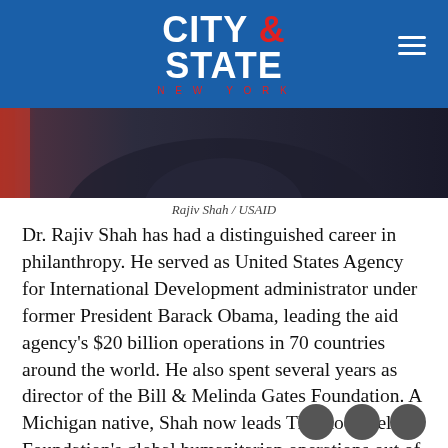CITY & STATE NEW YORK
[Figure (photo): Partial photograph of Rajiv Shah in dark suit with red flag visible at left edge]
Rajiv Shah / USAID
Dr. Rajiv Shah has had a distinguished career in philanthropy. He served as United States Agency for International Development administrator under former President Barack Obama, leading the aid agency's $20 billion operations in 70 countries around the world. He also spent several years as director of the Bill & Melinda Gates Foundation. A Michigan native, Shah now leads The Rockefeller Foundation's global humanitarian operations out of its New York headquarters.